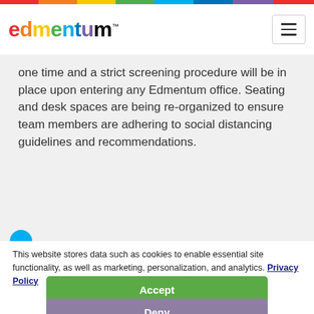edmentum™
one time and a strict screening procedure will be in place upon entering any Edmentum office. Seating and desk spaces are being re-organized to ensure team members are adhering to social distancing guidelines and recommendations.
This website stores data such as cookies to enable essential site functionality, as well as marketing, personalization, and analytics. Privacy Policy
Accept
Deny